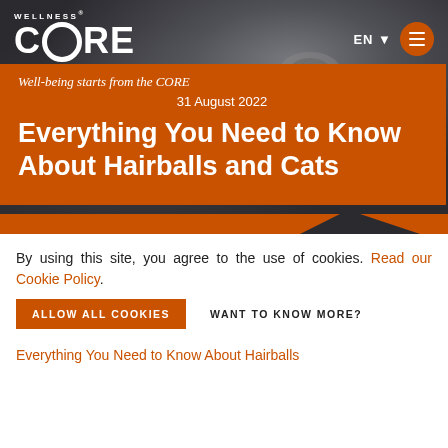[Figure (screenshot): Wellness CORE website header with blurred sleeping cat photo background, orange brand banner, logo, and navigation]
WELLNESS CORE
Well-being starts from the CORE
31 August 2022
Everything You Need to Know About Hairballs and Cats
By using this site, you agree to the use of cookies. Read our Cookie Policy.
ALLOW ALL COOKIES   WANT TO KNOW MORE?
Everything You Need to Know About Hairballs